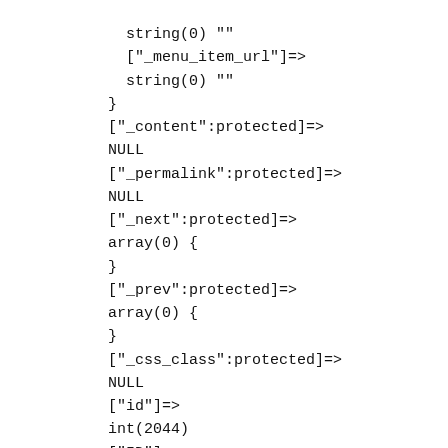string(0) ""
    ["_menu_item_url"]=>
    string(0) ""
  }
  ["_content":protected]=>
  NULL
  ["_permalink":protected]=>
  NULL
  ["_next":protected]=>
  array(0) {
  }
  ["_prev":protected]=>
  array(0) {
  }
  ["_css_class":protected]=>
  NULL
  ["id"]=>
  int(2044)
  ["ID"]=>
  int(2044)
  ["post_author"]=>
  string(1) "1"